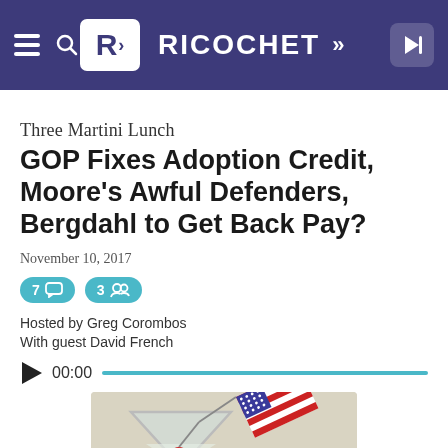RICOCHET
Three Martini Lunch
GOP Fixes Adoption Credit, Moore's Awful Defenders, Bergdahl to Get Back Pay?
November 10, 2017
7 comments  3 members
Hosted by Greg Corombos
With guest David French
00:00
[Figure (illustration): Martini glass with American flag cocktail pick, red cherry, on a light background]